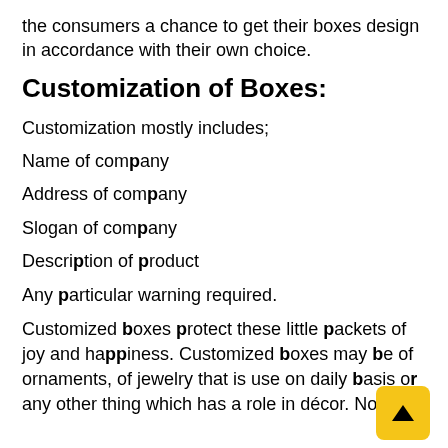the consumers a chance to get their boxes design in accordance with their own choice.
Customization of Boxes:
Customization mostly includes;
Name of company
Address of company
Slogan of company
Description of product
Any particular warning required.
Customized boxes protect these little packets of joy and happiness. Customized boxes may be of ornaments, of jewelry that is use on daily basis or any other thing which has a role in décor. Now you